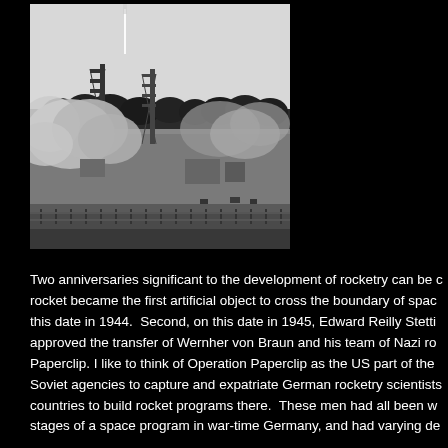[Figure (photo): Black and white historical photograph of a rocket launching from a test site, with large plumes of smoke and exhaust surrounding launch towers and ground structures. Trees visible on the horizon.]
Two anniversaries significant to the development of rocketry can be c… rocket became the first artificial object to cross the boundary of spac… this date in 1944. Second, on this date in 1945, Edward Reilly Stetti… approved the transfer of Wernher von Braun and his team of Nazi ro… Paperclip. I like to think of Operation Paperclip as the US part of the … Soviet agencies to capture and expatriate German rocketry scientists … countries to build rocket programs there. These men had all been w… stages of a space program in war-time Germany, and had varying de…